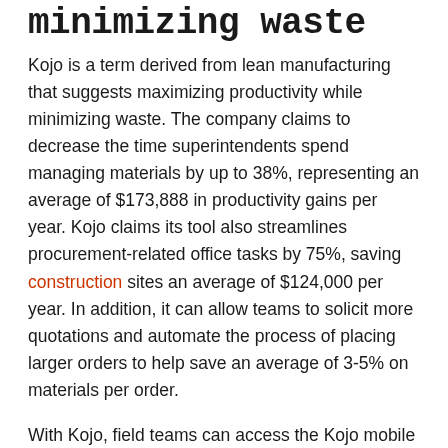Minimizing Waste
Kojo is a term derived from lean manufacturing that suggests maximizing productivity while minimizing waste. The company claims to decrease the time superintendents spend managing materials by up to 38%, representing an average of $173,888 in productivity gains per year. Kojo claims its tool also streamlines procurement-related office tasks by 75%, saving construction sites an average of $124,000 per year. In addition, it can allow teams to solicit more quotations and automate the process of placing larger orders to help save an average of 3-5% on materials per order.
With Kojo, field teams can access the Kojo mobile app and have real-time visibility into existing orders, material storage and delivery status. The app also makes it easy to reorder materials from previous jobs,